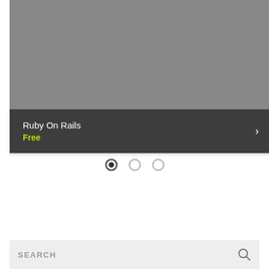[Figure (screenshot): Mobile app UI screenshot showing a course slider card with a gray image placeholder area at top, dark gray caption bar with 'Ruby On Rails' title and 'Free' price label in yellow-green, and a right arrow chevron on the right side.]
Ruby On Rails
Free
›
[Figure (infographic): Three carousel indicator dots: first dot is filled/active (dark), second and third are empty circles.]
SEARCH